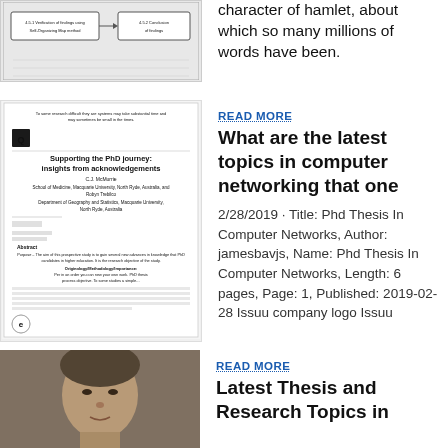[Figure (flowchart): Partial flowchart showing boxes: '4.5.1 Verification of findings using Self-Organizing Map method' and '4.5.2 Conclusion of findings']
character of hamlet, about which so many millions of words have been.
[Figure (screenshot): Thumbnail of academic paper: 'Supporting the PhD journey: insights from acknowledgements' by C.J. McMurrie, with publisher logo]
READ MORE
What are the latest topics in computer networking that one
2/28/2019 · Title: Phd Thesis In Computer Networks, Author: jamesbavjs, Name: Phd Thesis In Computer Networks, Length: 6 pages, Page: 1, Published: 2019-02-28 Issuu company logo Issuu
[Figure (photo): Close-up photo of a person's face, appears to be a middle-aged man]
READ MORE
Latest Thesis and Research Topics in